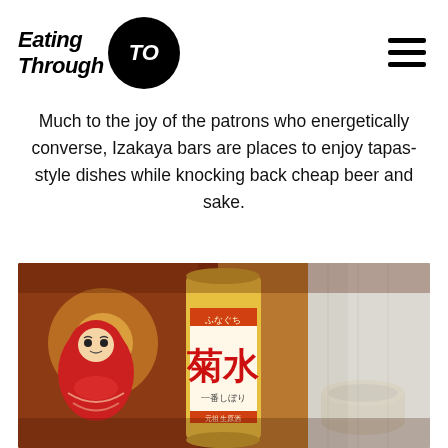Eating Through TO
Much to the joy of the patrons who energetically converse, Izakaya bars are places to enjoy tapas-style dishes while knocking back cheap beer and sake.
[Figure (photo): Photo of Japanese sake can (Kikusui brand with Japanese characters) alongside a lit candle in a red daruma doll holder and a ceramic sake cup, set in a warm izakaya bar atmosphere]